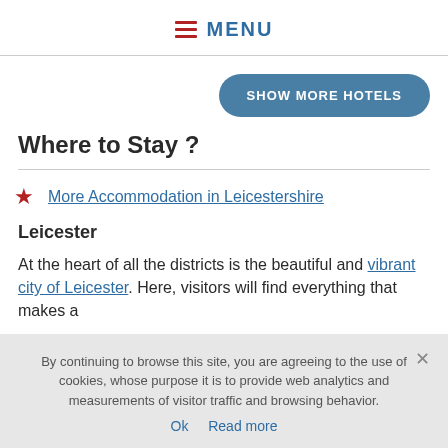MENU
SHOW MORE HOTELS
Where to Stay ?
More Accommodation in Leicestershire
Leicester
At the heart of all the districts is the beautiful and vibrant city of Leicester. Here, visitors will find everything that makes a
By continuing to browse this site, you are agreeing to the use of cookies, whose purpose it is to provide web analytics and measurements of visitor traffic and browsing behavior.
Ok  Read more